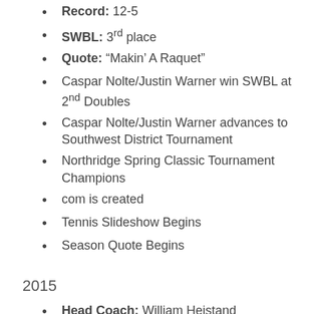Record: 12-5
SWBL: 3rd place
Quote: “Makin’ A Raquet”
Caspar Nolte/Justin Warner win SWBL at 2nd Doubles
Caspar Nolte/Justin Warner advances to Southwest District Tournament
Northridge Spring Classic Tournament Champions
com is created
Tennis Slideshow Begins
Season Quote Begins
2015
Head Coach: William Heistand
Assistant Coach: Mike Stratton, Ben